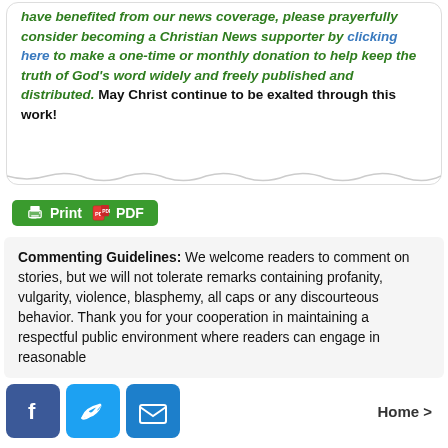have benefited from our news coverage, please prayerfully consider becoming a Christian News supporter by clicking here to make a one-time or monthly donation to help keep the truth of God's word widely and freely published and distributed. May Christ continue to be exalted through this work!
[Figure (other): Green Print and PDF button with printer and document icons]
Commenting Guidelines: We welcome readers to comment on stories, but we will not tolerate remarks containing profanity, vulgarity, violence, blasphemy, all caps or any discourteous behavior. Thank you for your cooperation in maintaining a respectful public environment where readers can engage in reasonable
[Figure (other): Social sharing bar with Facebook, Twitter, and email icons, and a Home link]